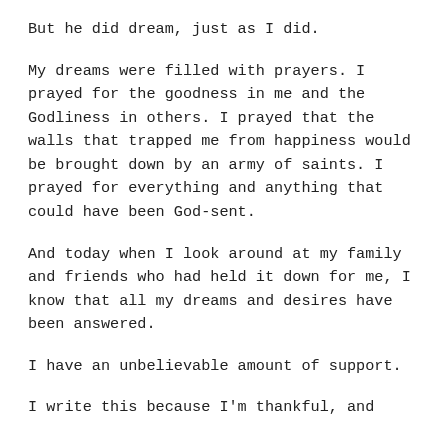But he did dream, just as I did.
My dreams were filled with prayers. I prayed for the goodness in me and the Godliness in others. I prayed that the walls that trapped me from happiness would be brought down by an army of saints. I prayed for everything and anything that could have been God-sent.
And today when I look around at my family and friends who had held it down for me, I know that all my dreams and desires have been answered.
I have an unbelievable amount of support.
I write this because I'm thankful, and